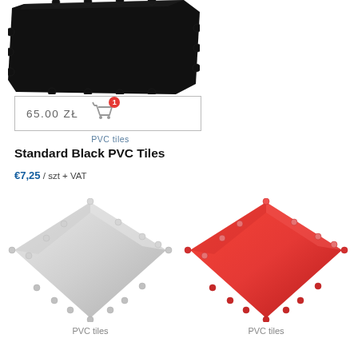[Figure (photo): Black interlocking PVC floor tile viewed from above at an angle, showing dark surface with puzzle-piece edges]
[Figure (screenshot): Shopping cart button bar showing price 65.00 Zł with orange cart icon and badge number 1]
PVC tiles
Standard Black PVC Tiles
€7,25 / szt + VAT
[Figure (photo): Light gray interlocking PVC floor tile viewed from above at an angle, showing smooth gray surface with puzzle-piece edges]
PVC tiles
[Figure (photo): Red interlocking PVC floor tile viewed from above at an angle, showing smooth red surface with puzzle-piece edges]
PVC tiles